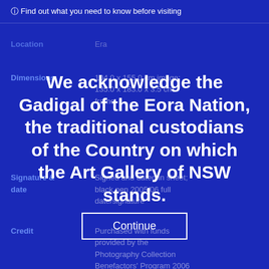ⓘ Find out what you need to know before visiting
Location
Era
Dimensions
104.0 x 155.0 cm image; 135.0 x 183.0 x 3.5 cm frame
We acknowledge the Gadigal of the Eora Nation, the traditional custodians of the Country on which the Art Gallery of NSW stands.
Signature & date
Signed and dated in sheet; black pen 2005/06 full date/signature
Credit
Purchased with funds provided by the Photography Collection Benefactors' Program 2006
Continue